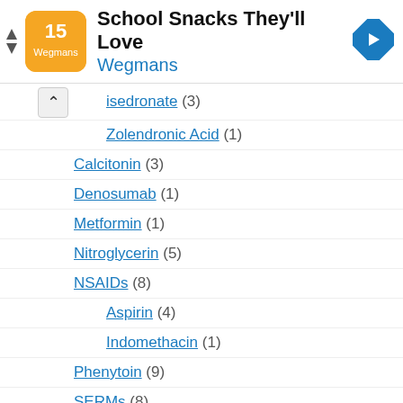[Figure (other): Advertisement banner for Wegmans 'School Snacks They'll Love' with logo and navigation icon]
Risedronate (3)
Zolendronic Acid (1)
Calcitonin (3)
Denosumab (1)
Metformin (1)
Nitroglycerin (5)
NSAIDs (8)
Aspirin (4)
Indomethacin (1)
Phenytoin (9)
SERMs (8)
Clomiphene (1)
Raloxifene (5)
Statins (7)